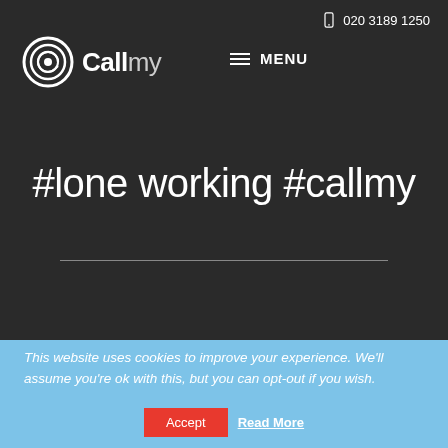020 3189 1250
[Figure (logo): Callmy logo with circular @ icon and bold text 'Call' followed by lighter 'my']
MENU
#lone working #callmy
This website uses cookies to improve your experience. We'll assume you're ok with this, but you can opt-out if you wish.
Accept  Read More